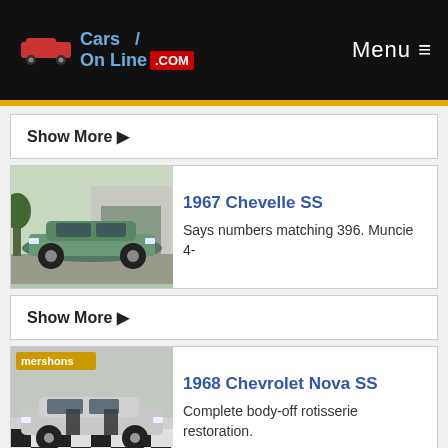Cars On Line .com  Menu ≡
Show More ▶
[Figure (photo): 1967 Chevelle SS, teal/green muscle car parked outside a garage]
1967 Chevelle SS
Says numbers matching 396. Muncie 4-
Show More ▶
[Figure (photo): 1968 Chevrolet Nova SS, silver with black stripes, at mershons dealership]
1968 Chevrolet Nova SS
Complete body-off rotisserie restoration.
Show More ▶
[Figure (photo): Partial view of another classic car listing at the bottom of the page]